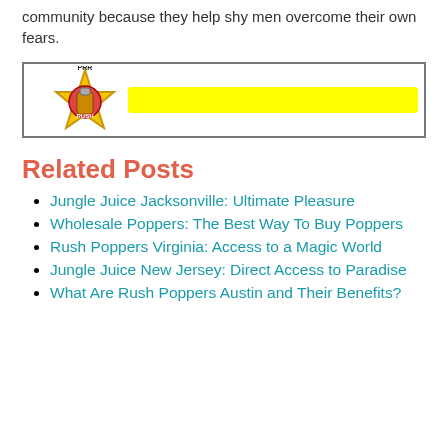community because they help shy men overcome their own fears.
[Figure (other): Advertisement banner with PRR/Rush poppers logo on left and yellow horizontal bar on right.]
Related Posts
Jungle Juice Jacksonville: Ultimate Pleasure
Wholesale Poppers: The Best Way To Buy Poppers
Rush Poppers Virginia: Access to a Magic World
Jungle Juice New Jersey: Direct Access to Paradise
What Are Rush Poppers Austin and Their Benefits?